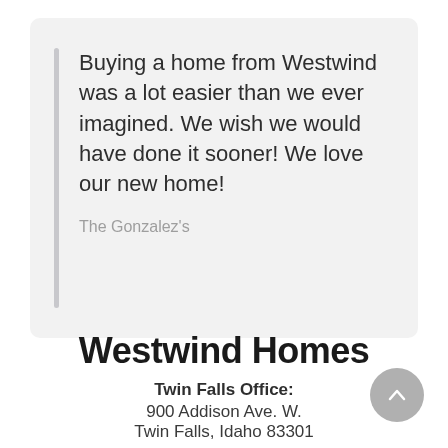Buying a home from Westwind was a lot easier than we ever imagined. We wish we would have done it sooner! We love our new home!
The Gonzalez's
Westwind Homes
Twin Falls Office:
900 Addison Ave. W.
Twin Falls, Idaho 83301